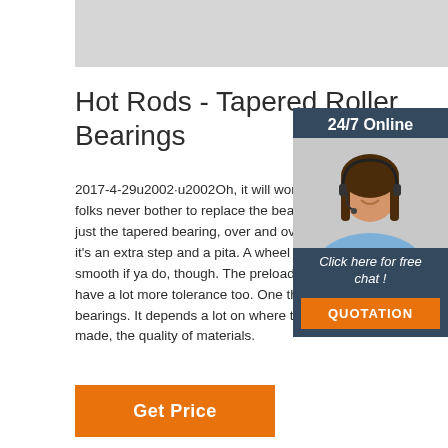[Figure (photo): Gray banner image placeholder at top of page]
Hot Rods - Tapered Roller Bearings
2017-4-29u2002·u2002Oh, it will work. A lot of folks never bother to replace the bearing cups, just the tapered bearing, over and over, because it's an extra step and a pita. A wheel sure rolls smooth if ya do, though. The preload is good, have a lot more tolerance too. One thing about bearings. It depends a lot on where they are made, the quality of materials.
[Figure (photo): 24/7 Online chat widget with photo of woman wearing headset, Click here for free chat, and QUOTATION button]
Get Price